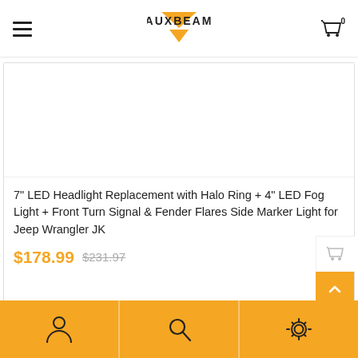AUXBEAM
[Figure (photo): Product image area - white background placeholder for product photo]
7" LED Headlight Replacement with Halo Ring + 4" LED Fog Light + Front Turn Signal & Fender Flares Side Marker Light for Jeep Wrangler JK
$178.99 $231.97